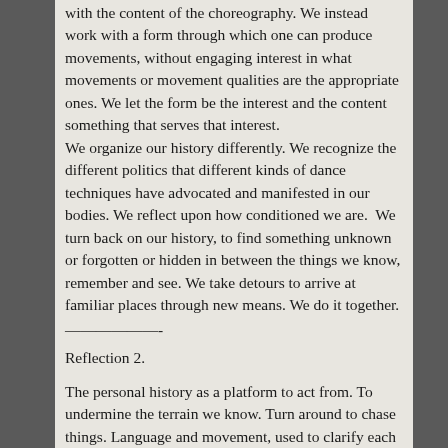with the content of the choreography. We instead work with a form through which one can produce movements, without engaging interest in what movements or movement qualities are the appropriate ones. We let the form be the interest and the content something that serves that interest.
We organize our history differently. We recognize the different politics that different kinds of dance techniques have advocated and manifested in our bodies. We reflect upon how conditioned we are.  We turn back on our history, to find something unknown or forgotten or hidden in between the things we know, remember and see. We take detours to arrive at familiar places through new means. We do it together.
——————-
Reflection 2.
The personal history as a platform to act from. To undermine the terrain we know. Turn around to chase things. Language and movement, used to clarify each other. The dancing takes me somewhere and the